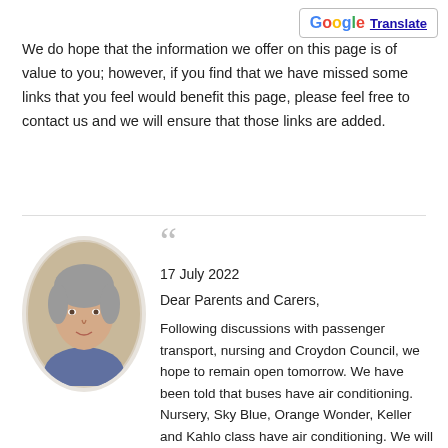[Figure (logo): Google Translate button with G logo and 'Translate' text link in top right corner]
We do hope that the information we offer on this page is of value to you; however, if you find that we have missed some links that you feel would benefit this page, please feel free to contact us and we will ensure that those links are added.
[Figure (photo): Oval portrait photo of a middle-aged woman with grey hair, wearing a blue striped shirt, smiling slightly]
17 July 2022

Dear Parents and Carers,

Following discussions with passenger transport, nursing and Croydon Council, we hope to remain open tomorrow. We have been told that buses have air conditioning. Nursery, Sky Blue, Orange Wonder, Keller and Kahlo class have air conditioning. We will move children and close classes if they